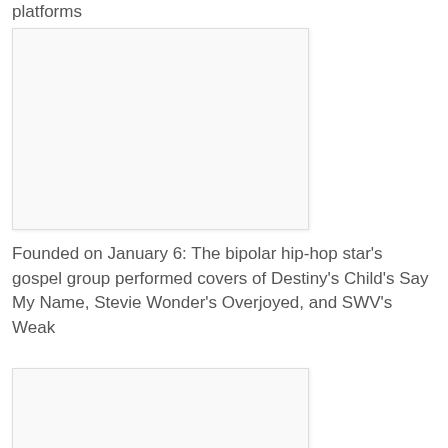platforms
[Figure (photo): Blank/white image placeholder, first image]
Founded on January 6: The bipolar hip-hop star's gospel group performed covers of Destiny's Child's Say My Name, Stevie Wonder's Overjoyed, and SWV's Weak
[Figure (photo): Blank/white image placeholder, second image]